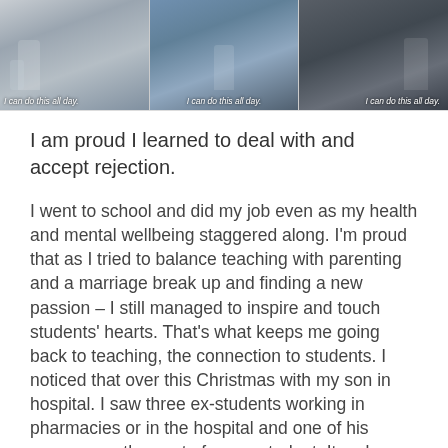[Figure (photo): Three-panel photo strip showing people in various settings, each panel has text 'I can do this all day.' as caption overlay]
I am proud I learned to deal with and accept rejection.
I went to school and did my job even as my health and mental wellbeing staggered along. I'm proud that as I tried to balance teaching with parenting and a marriage break up and finding a new passion – I still managed to inspire and touch students' hearts. That's what keeps me going back to teaching, the connection to students. I noticed that over this Christmas with my son in hospital. I saw three ex-students working in pharmacies or in the hospital and one of his nurses was the aunt of an ex-student. It makes me feel part of a community.
The most special part of this decade has been my children. Their support and joy and humour and how they've learned